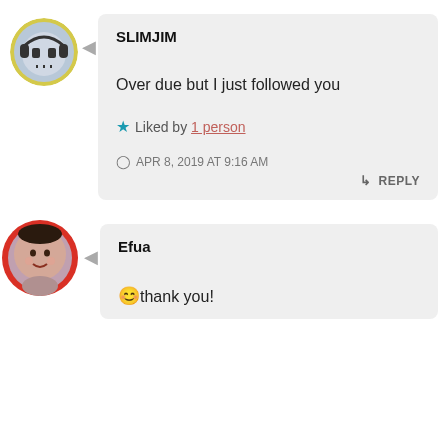[Figure (illustration): Avatar icon of SLIMJIM — circular pixel-art face with headphones on yellow background]
SLIMJIM
Over due but I just followed you
★ Liked by 1 person
APR 8, 2019 AT 9:16 AM
↳ REPLY
[Figure (photo): Circular avatar photo of Efua, a smiling woman, with red border ring]
Efua
😊thank you!